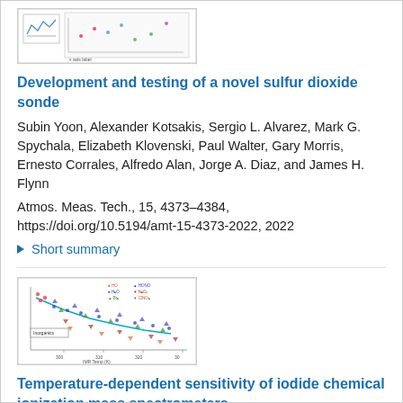[Figure (other): Small thumbnail image of a scientific figure (sonde instrument schematic or data plot)]
Development and testing of a novel sulfur dioxide sonde
Subin Yoon, Alexander Kotsakis, Sergio L. Alvarez, Mark G. Spychala, Elizabeth Klovenski, Paul Walter, Gary Morris, Ernesto Corrales, Alfredo Alan, Jorge A. Diaz, and James H. Flynn
Atmos. Meas. Tech., 15, 4373–4384, https://doi.org/10.5194/amt-15-4373-2022, 2022
▶ Short summary
[Figure (scatter-plot): Scatter plot showing temperature-dependent sensitivity data for iodide chemical ionization mass spectrometers, with multiple colored data series (HO, HONO, H2O, N2O5, Br2, CINO2) plotted against IMR Temp (K) on x-axis. Labeled 'Inorganics'.]
Temperature-dependent sensitivity of iodide chemical ionization mass spectrometers
Michael A. Robinson, J. Andrew Neuman, L. Gregory